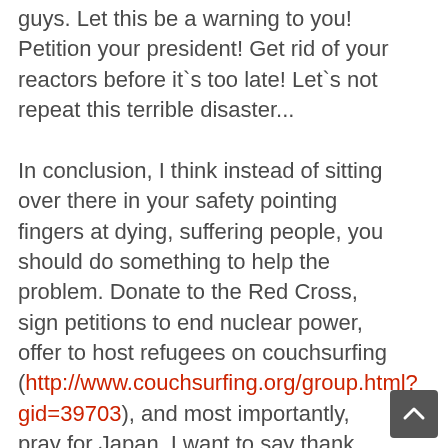guys. Let this be a warning to you! Petition your president! Get rid of your reactors before it`s too late! Let`s not repeat this terrible disaster...

In conclusion, I think instead of sitting over there in your safety pointing fingers at dying, suffering people, you should do something to help the problem. Donate to the Red Cross, sign petitions to end nuclear power, offer to host refugees on couchsurfing (http://www.couchsurfing.org/group.html?gid=39703), and most importantly, pray for Japan. I want to say thank you to the United States for Operation Friendship and other measures that your government is taking to help my country. But please don`t let your government do all the work! You too can help! Don`t sit there and complain how we`re "all one world" unless you`re willing to act like it and take